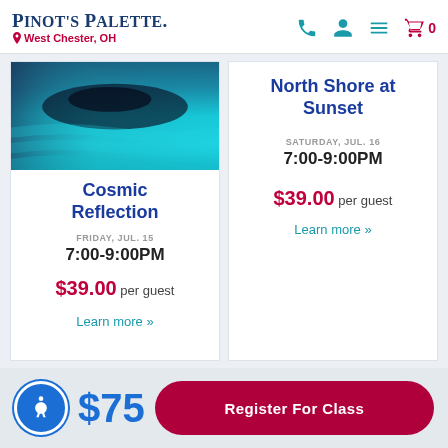Pinot's Palette - West Chester, OH
[Figure (screenshot): Ocean water painting image for Cosmic Reflection class]
Cosmic Reflection
FRIDAY, JUL. 15
7:00-9:00PM
$39.00 per guest
Learn more »
North Shore at Sunset
SATURDAY, JUL. 16
7:00-9:00PM
$39.00 per guest
Learn more »
$75
Register For Class